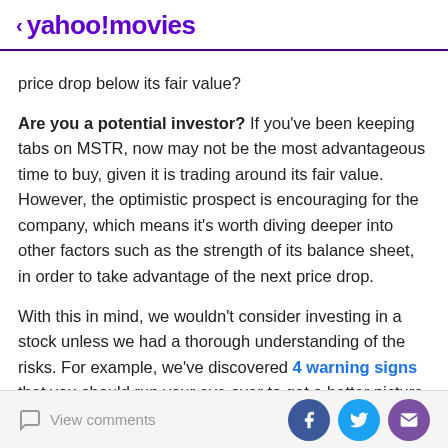< yahoo!movies
price drop below its fair value?
Are you a potential investor? If you've been keeping tabs on MSTR, now may not be the most advantageous time to buy, given it is trading around its fair value. However, the optimistic prospect is encouraging for the company, which means it's worth diving deeper into other factors such as the strength of its balance sheet, in order to take advantage of the next price drop.
With this in mind, we wouldn't consider investing in a stock unless we had a thorough understanding of the risks. For example, we've discovered 4 warning signs that you should run your eye over to get a better picture
View comments